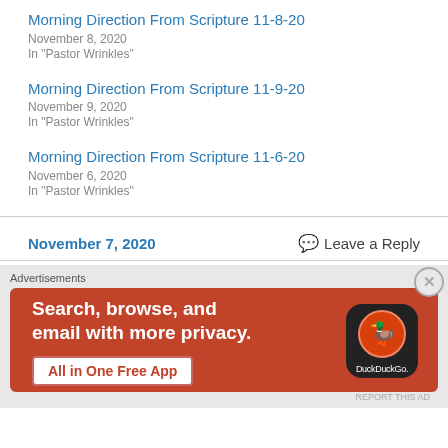Morning Direction From Scripture 11-8-20
November 8, 2020
In "Pastor Wrinkles"
Morning Direction From Scripture 11-9-20
November 9, 2020
In "Pastor Wrinkles"
Morning Direction From Scripture 11-6-20
November 6, 2020
In "Pastor Wrinkles"
November 7, 2020
Leave a Reply
Advertisements
[Figure (infographic): DuckDuckGo advertisement banner: orange-red background with white text 'Search, browse, and email with more privacy. All in One Free App' and a phone mockup showing the DuckDuckGo logo.]